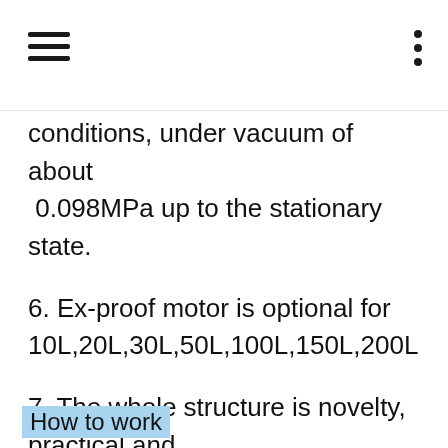conditions, under vacuum of about 0.098MPa up to the stationary state.
6. Ex-proof motor is optional for 10L,20L,30L,50L,100L,150L,200L
7. The whole structure is novelty, practical and beautiful.
How to work